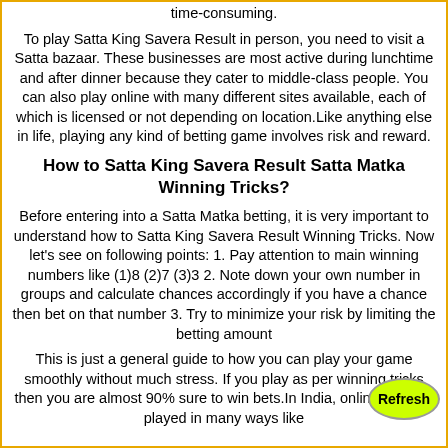time-consuming.
To play Satta King Savera Result in person, you need to visit a Satta bazaar. These businesses are most active during lunchtime and after dinner because they cater to middle-class people. You can also play online with many different sites available, each of which is licensed or not depending on location.Like anything else in life, playing any kind of betting game involves risk and reward.
How to Satta King Savera Result Satta Matka Winning Tricks?
Before entering into a Satta Matka betting, it is very important to understand how to Satta King Savera Result Winning Tricks. Now let's see on following points: 1. Pay attention to main winning numbers like (1)8 (2)7 (3)3 2. Note down your own number in groups and calculate chances accordingly if you have a chance then bet on that number 3. Try to minimize your risk by limiting the betting amount
This is just a general guide to how you can play your game smoothly without much stress. If you play as per winning tricks then you are almost 90% sure to win bets.In India, online game is played in many ways like